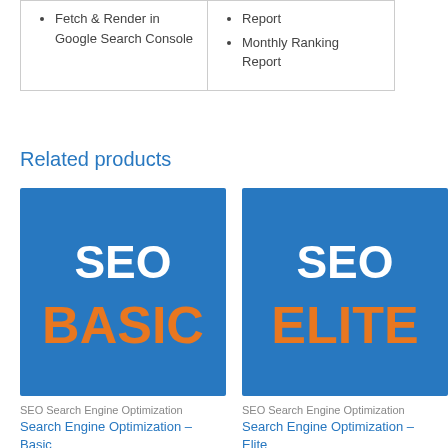Fetch & Render in Google Search Console
Monthly Ranking Report
Related products
[Figure (illustration): SEO BASIC product card image — blue square background with white text 'SEO' and orange bold text 'BASIC']
SEO Search Engine Optimization
Search Engine Optimization – Basic
[Figure (illustration): SEO ELITE product card image — blue square background with white text 'SEO' and orange bold text 'ELITE']
SEO Search Engine Optimization
Search Engine Optimization – Elite